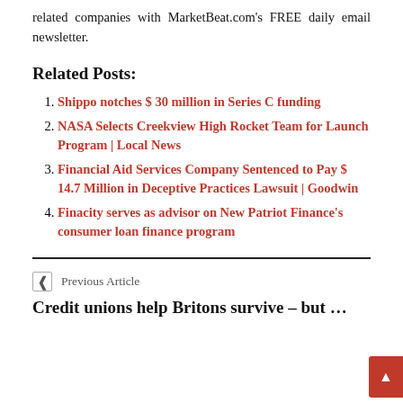related companies with MarketBeat.com's FREE daily email newsletter.
Related Posts:
Shippo notches $ 30 million in Series C funding
NASA Selects Creekview High Rocket Team for Launch Program | Local News
Financial Aid Services Company Sentenced to Pay $ 14.7 Million in Deceptive Practices Lawsuit | Goodwin
Finacity serves as advisor on New Patriot Finance's consumer loan finance program
Previous Article
Credit unions help Britons survive – but …